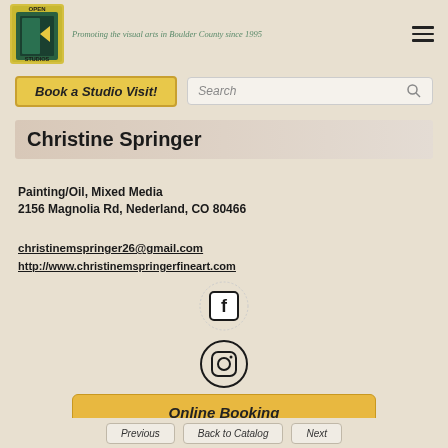[Figure (logo): Open Studios logo with yellow/green door icon and text OPEN STUDIOS]
Promoting the visual arts in Boulder County since 1995
Book a Studio Visit!
Search
Christine Springer
Painting/Oil, Mixed Media
2156 Magnolia Rd, Nederland, CO 80466
christinemspringer26@gmail.com
http://www.christinemspringerfineart.com
[Figure (logo): Facebook icon - square with rounded corners and F logo]
[Figure (logo): Instagram icon - camera outline circle logo]
Online Booking
Previous
Back to Catalog
Next